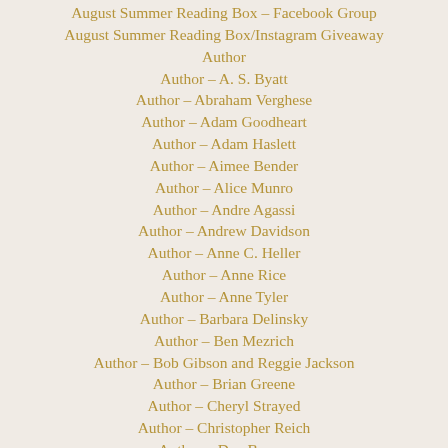August Summer Reading Box – Facebook Group
August Summer Reading Box/Instagram Giveaway
Author
Author – A. S. Byatt
Author – Abraham Verghese
Author – Adam Goodheart
Author – Adam Haslett
Author – Aimee Bender
Author – Alice Munro
Author – Andre Agassi
Author – Andrew Davidson
Author – Anne C. Heller
Author – Anne Rice
Author – Anne Tyler
Author – Barbara Delinsky
Author – Ben Mezrich
Author – Bob Gibson and Reggie Jackson
Author – Brian Greene
Author – Cheryl Strayed
Author – Christopher Reich
Author – Dan Brown
Author – Dan Fesperman
Author – David Allen Sibley